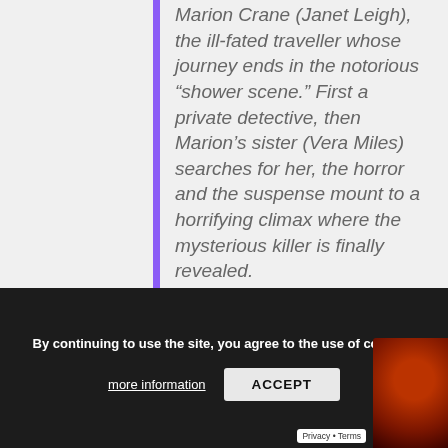Marion Crane (Janet Leigh), the ill-fated traveller whose journey ends in the notorious “shower scene.” First a private detective, then Marion’s sister (Vera Miles) searches for her, the horror and the suspense mount to a horrifying climax where the mysterious killer is finally revealed.
Join the Master of Suspense, Alfred Hitchcock, on a chilling journey as an unsuspecting victim visits the Bates Motel and falls prey to one of cinema’s most notorious psychopaths – Norman Bates
Hitchcock [19...] theatrical Cut 4k restored and in UK/Eire cinemas from 2...
By continuing to use the site, you agree to the use of cookies.
more information
ACCEPT